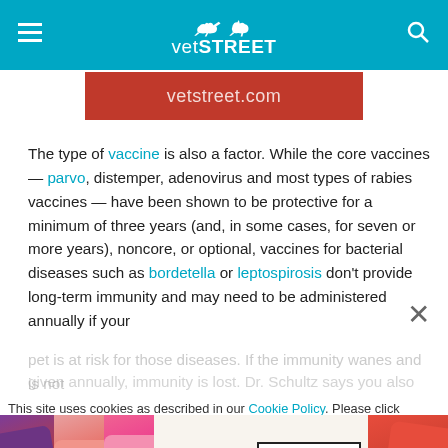vetSTREET
[Figure (screenshot): Red banner with text vetstreet.com]
The type of vaccine is also a factor. While the core vaccines — parvo, distemper, adenovirus and most types of rabies vaccines — have been shown to be protective for a minimum of three years (and, in some cases, for seven or more years), noncore, or optional, vaccines for bacterial diseases such as bordetella or leptospirosis don't provide long-term immunity and may need to be administered annually if your
[Figure (screenshot): MAC cosmetics advertisement with lipstick products and SHOP NOW button]
This site uses cookies as described in our Cookie Policy. Please click